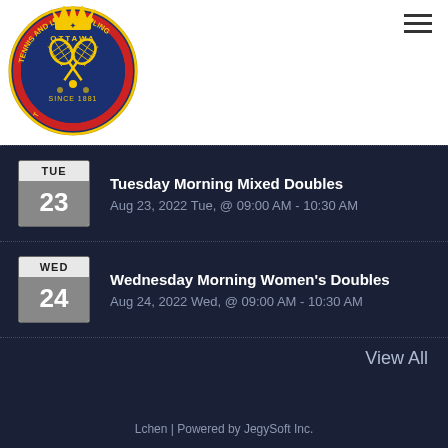[Figure (logo): Ottawa Tennis and Lawn Bowling Club circular logo with crown, crossed tennis rackets, and text 'Ottawa Tennis and Lawn Bowling Club Since 1881']
Tuesday Morning Mixed Doubles
Aug 23, 2022 Tue, @ 09:00 AM - 10:30 AM
Wednesday Morning Women's Doubles
Aug 24, 2022 Wed, @ 09:00 AM - 10:30 AM
View All
Lchen | Powered by JegySoft Inc.